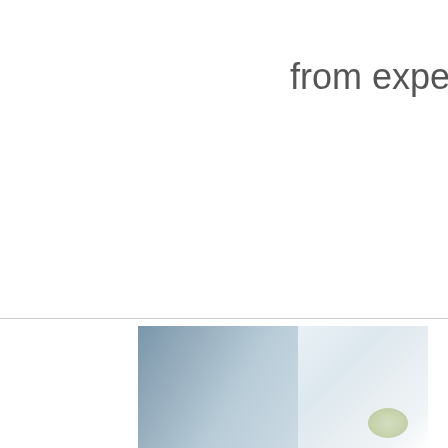from experience.
[Figure (photo): Partial photograph at the bottom of the page showing a blue-toned blurred image, likely of a person or object, with soft light tones on the right side and darker blue tones on the left.]